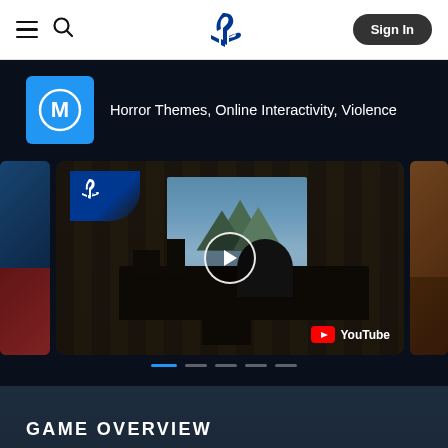PlayStation navigation bar with hamburger menu, search icon, PlayStation logo, and Sign In button
[Figure (screenshot): PlayStation Store website header navigation bar with hamburger menu (three lines), search magnifier icon, centered blue PlayStation logo, and a dark Sign In button with rounded corners on white background]
Horror Themes, Online Interactivity, Violence
[Figure (screenshot): Video carousel on PlayStation Store showing a dark game scene with a character sitting at a desk looking out at a mountainous landscape through a window. PlayStation logo overlay in top-left corner. White circular play button in center. YouTube watermark in bottom-right. Side thumbnails partially visible on left and right.]
GAME OVERVIEW